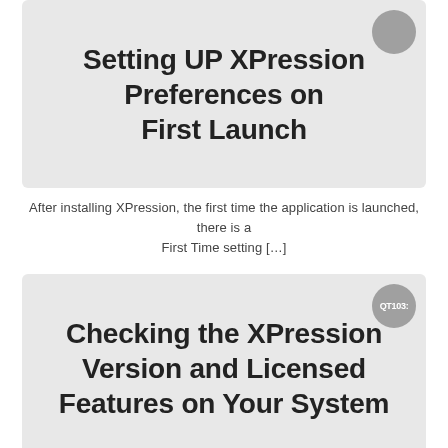Setting UP XPression Preferences on First Launch
After installing XPression, the first time the application is launched, there is a First Time setting [...]
Checking the XPression Version and Licensed Features on Your System